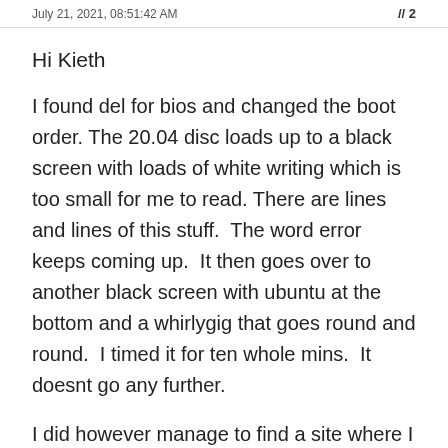July 21, 2021, 08:51:42 AM
Hi Kieth
I found del for bios and changed the boot order. The 20.04 disc loads up to a black screen with loads of white writing which is too small for me to read. There are lines and lines of this stuff.  The word error keeps coming up.  It then goes over to another black screen with ubuntu at the bottom and a whirlygig that goes round and round.  I timed it for ten whole mins.  It doesnt go any further.
I did however manage to find a site where I